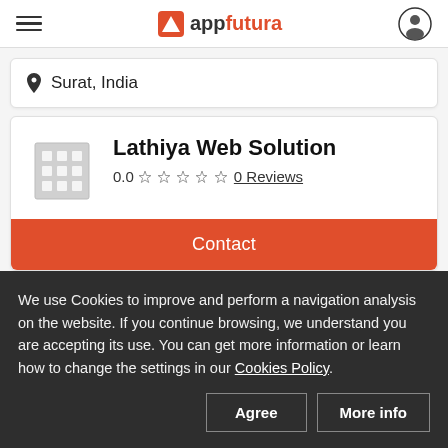appfutura
Surat, India
Lathiya Web Solution
0.0  0 Reviews
Contact
We use Cookies to improve and perform a navigation analysis on the website. If you continue browsing, we understand you are accepting its use. You can get more information or learn how to change the settings in our Cookies Policy.